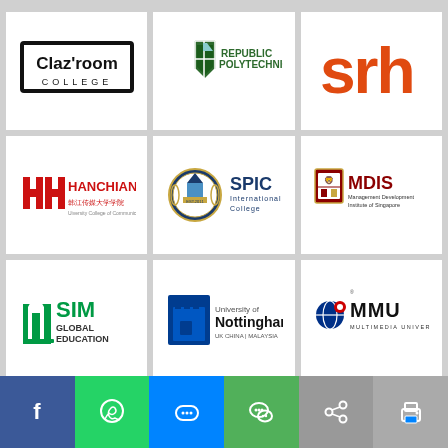[Figure (logo): Claz'room College logo - black border rectangle with text]
[Figure (logo): Republic Polytechnic logo - shield with text]
[Figure (logo): SRH logo - orange lowercase letters]
[Figure (logo): Hanchiang University College of Communication logo - red H marks with Chinese text]
[Figure (logo): SPIC International College logo - crest with text]
[Figure (logo): MDIS Management Development Institute of Singapore logo]
[Figure (logo): SIM Global Education logo - green columns with text]
[Figure (logo): University of Nottingham logo - blue castle with text]
[Figure (logo): MMU Multimedia University logo - blue globe with text]